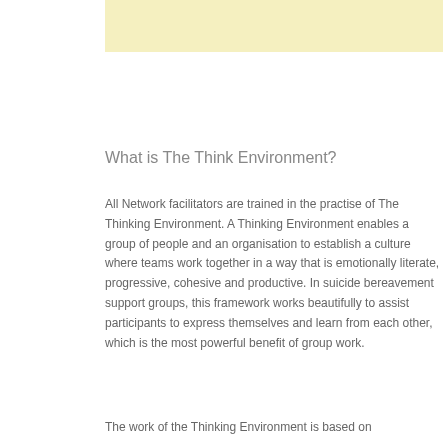[Figure (other): Yellow/cream colored horizontal banner bar at top of page]
What is The Think Environment?
All Network facilitators are trained in the practise of The Thinking Environment. A Thinking Environment enables a group of people and an organisation to establish a culture where teams work together in a way that is emotionally literate, progressive, cohesive and productive. In suicide bereavement support groups, this framework works beautifully to assist participants to express themselves and learn from each other, which is the most powerful benefit of group work.
The work of the Thinking Environment is based on